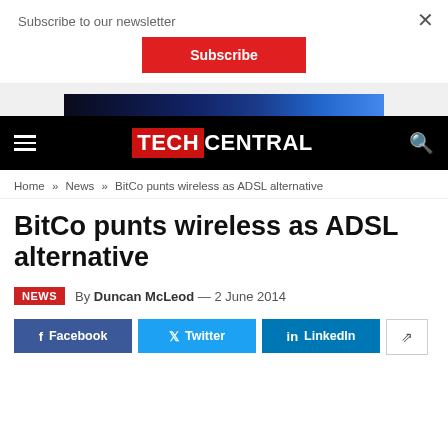Subscribe to our newsletter
[Figure (screenshot): Red Subscribe button]
[Figure (screenshot): Advertisement banner strip with dark blue gradient image]
TECHCENTRAL
Home » News » BitCo punts wireless as ADSL alternative
BitCo punts wireless as ADSL alternative
NEWS  By Duncan McLeod — 2 June 2014
[Figure (screenshot): Social sharing buttons: Facebook, Twitter, LinkedIn, Share]